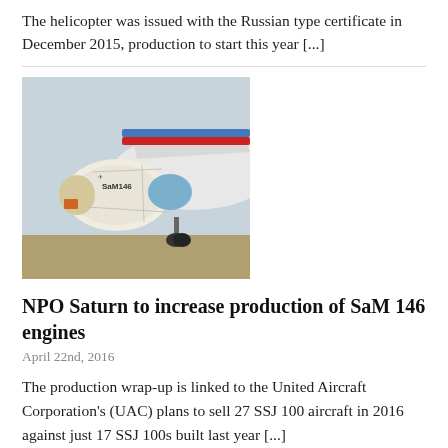The helicopter was issued with the Russian type certificate in December 2015, production to start this year [...]
[Figure (photo): Close-up photo of SaM146 jet engine on aircraft wing with landing gear visible]
NPO Saturn to increase production of SaM 146 engines
April 22nd, 2016
The production wrap-up is linked to the United Aircraft Corporation's (UAC) plans to sell 27 SSJ 100 aircraft in 2016 against just 17 SSJ 100s built last year [...]